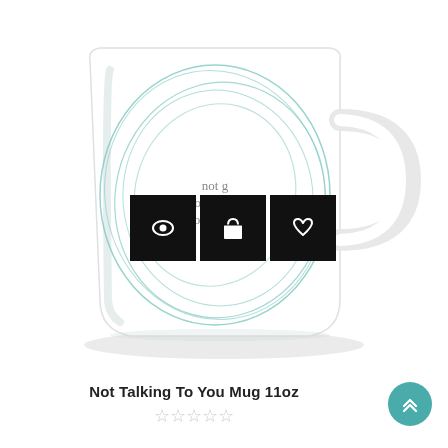[Figure (photo): A white ceramic coffee mug with a teal/mint sketched circle design on the front, featuring text 'nothing is one of my favorite things'. Three black icon overlay buttons (eye, shopping bag, heart) are visible over the mug design.]
Not Talking To You Mug 11oz
☆☆☆☆☆